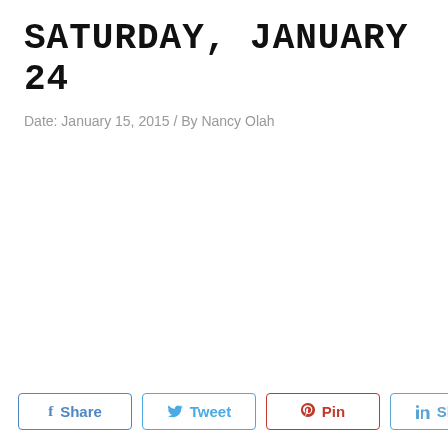SATURDAY, JANUARY 24
Date: January 15, 2015 / By Nancy Olah
Share  Tweet  Pin  Share